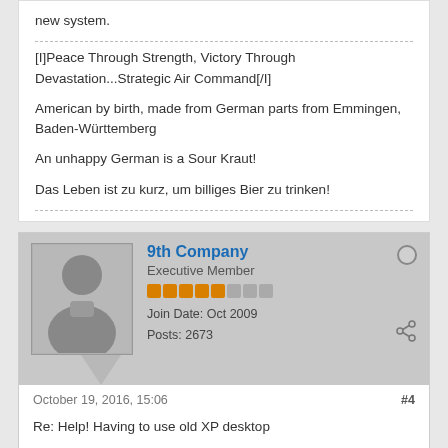new system.
[I]Peace Through Strength, Victory Through Devastation...Strategic Air Command[/I]
American by birth, made from German parts from Emmingen, Baden-Württemberg
An unhappy German is a Sour Kraut!
Das Leben ist zu kurz, um billiges Bier zu trinken!
9th Company
Executive Member
Join Date: Oct 2009
Posts: 2673
October 19, 2016, 15:06
#4
Re: Help! Having to use old XP desktop
Or reformat and put a Linux distro on: